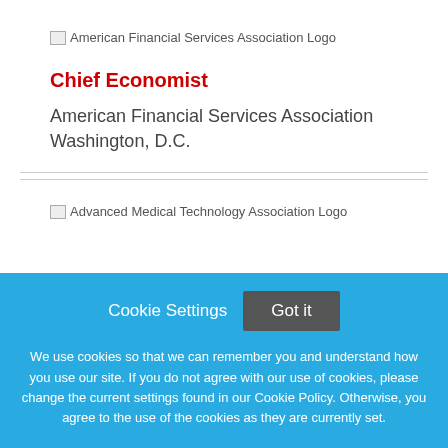[Figure (logo): American Financial Services Association Logo]
Chief Economist
American Financial Services Association
Washington, D.C.
[Figure (logo): Advanced Medical Technology Association Logo]
Cookie Settings   Got it

We use cookies so that we can remember you and understand how you use our site. If you do not agree with our use of cookies, please change the current settings found in our Cookie Policy. Otherwise, you agree to the use of the cookies as they are currently set.